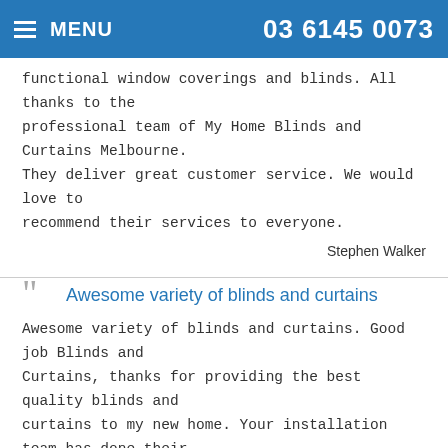MENU  03 6145 0073
functional window coverings and blinds. All thanks to the professional team of My Home Blinds and Curtains Melbourne. They deliver great customer service. We would love to recommend their services to everyone.
Stephen Walker
Awesome variety of blinds and curtains
Awesome variety of blinds and curtains. Good job Blinds and Curtains, thanks for providing the best quality blinds and curtains to my new home. Your installation team has done their job with ample perfection. Very happy with your service.
Thomas